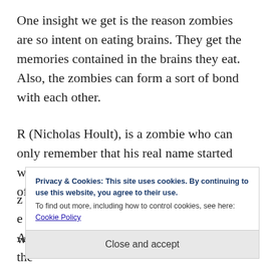One insight we get is the reason zombies are so intent on eating brains. They get the memories contained in the brains they eat. Also, the zombies can form a sort of bond with each other.
R (Nicholas Hoult), is a zombie who can only remember that his real name started with an R. While being hunted by a group of young
Privacy & Cookies: This site uses cookies. By continuing to use this website, you agree to their use.
To find out more, including how to control cookies, see here: Cookie Policy
Close and accept
After R saves Julie from the other zombies, the